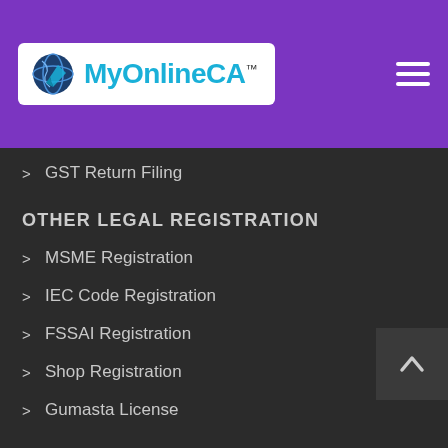[Figure (logo): MyOnlineCA logo with blue globe icon and cyan text on white background, inside a purple navigation header with hamburger menu icon]
GST Return Filing
OTHER LEGAL REGISTRATION
MSME Registration
IEC Code Registration
FSSAI Registration
Shop Registration
Gumasta License
ANNUAL SERVICE
Company Annual Filing
LLP Annual Filing
Income Tax Return